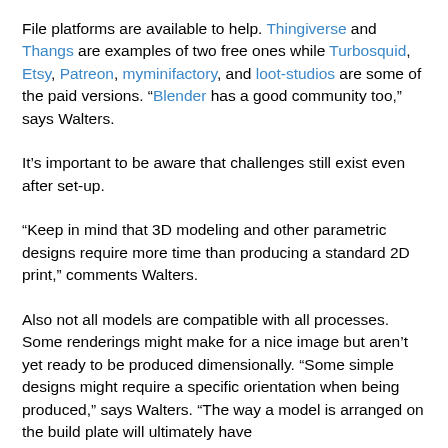File platforms are available to help. Thingiverse and Thangs are examples of two free ones while Turbosquid, Etsy, Patreon, myminifactory, and loot-studios are some of the paid versions. "Blender has a good community too," says Walters.
It's important to be aware that challenges still exist even after set-up.
"Keep in mind that 3D modeling and other parametric designs require more time than producing a standard 2D print," comments Walters.
Also not all models are compatible with all processes. Some renderings might make for a nice image but aren't yet ready to be produced dimensionally. "Some simple designs might require a specific orientation when being produced," says Walters. "The way a model is arranged on the build plate will ultimately have